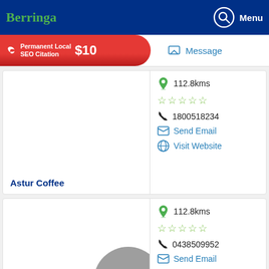Berringa | Menu
[Figure (infographic): Red banner ad: Permanent Local SEO Citation $10]
Message
Astur Coffee — 112.8kms, 1800518234, Send Email, Visit Website
Wicked Coffee Carts — 112.8kms, 0438509952, Send Email, Message